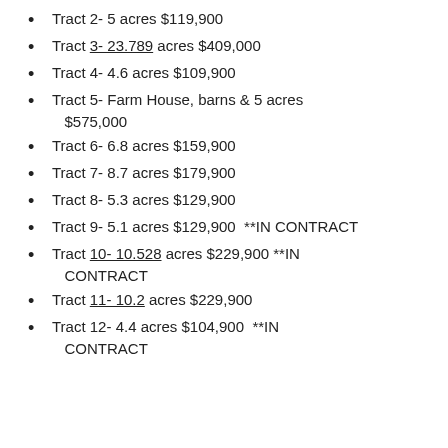Tract 2- 5 acres $119,900
Tract 3- 23.789 acres $409,000
Tract 4- 4.6 acres $109,900
Tract 5- Farm House, barns & 5 acres $575,000
Tract 6- 6.8 acres $159,900
Tract 7- 8.7 acres $179,900
Tract 8- 5.3 acres $129,900
Tract 9- 5.1 acres $129,900  **IN CONTRACT
Tract 10- 10.528 acres $229,900 **IN CONTRACT
Tract 11- 10.2 acres $229,900
Tract 12- 4.4 acres $104,900  **IN CONTRACT